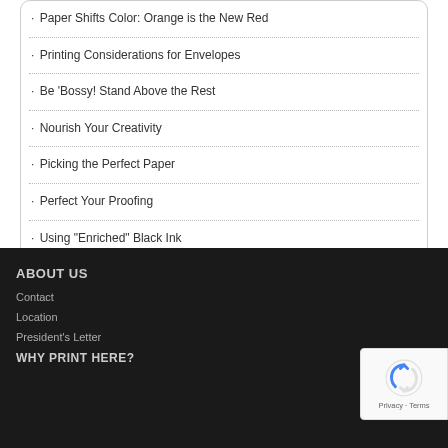Paper Shifts Color: Orange is the New Red
Printing Considerations for Envelopes
Be 'Bossy! Stand Above the Rest
Nourish Your Creativity
Picking the Perfect Paper
Perfect Your Proofing
Using "Enriched" Black Ink
ABOUT US
Contact
Location
President's Letter
WHY PRINT HERE?